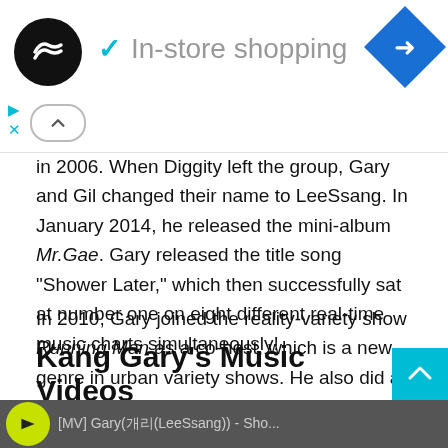[Figure (screenshot): Ad banner with circular logo, checkmark icon, 'In-store shopping' text, and blue diamond navigation icon]
in 2006. When Diggity left the group, Gary and Gil changed their name to LeeSsang. In January 2014, he released the mini-album Mr.Gae. Gary released the title song “Shower Later,” which then successfully sat at number one on eight different real-time music charts simultaneously!
In 2010, Gary joined the reality-variety show Running Man as a co-host, which is a new genre in urban variety shows. He also did a cameo in Wonderful Radio, and in February 2014, in Emergency Couple.
Kang Gary’s Music Videos
[Figure (screenshot): Bottom strip showing a music video thumbnail with yellow-green circle logo and text]